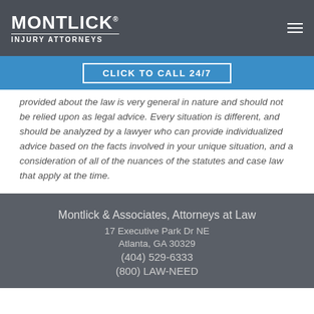MONTLICK INJURY ATTORNEYS
CLICK TO CALL 24/7
provided about the law is very general in nature and should not be relied upon as legal advice. Every situation is different, and should be analyzed by a lawyer who can provide individualized advice based on the facts involved in your unique situation, and a consideration of all of the nuances of the statutes and case law that apply at the time.
Montlick & Associates, Attorneys at Law
17 Executive Park Dr NE
Atlanta, GA 30329
(404) 529-6333
(800) LAW-NEED